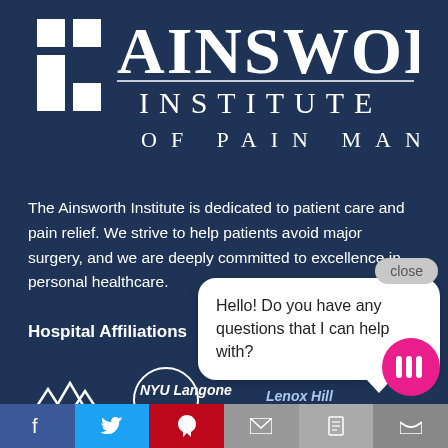[Figure (logo): Ainsworth Institute of Pain Management logo — white cross icon and text on dark navy background]
The Ainsworth Institute is dedicated to patient care and pain relief. We strive to help patients avoid major surgery, and we are deeply committed to excellence in personal healthcare.
Hospital Affiliations
[Figure (logo): Hospital affiliation logos: Mount Sinai (partially visible), NYU Langone Medical Center, and Lenox Hill Hospital logos]
[Figure (screenshot): Chat widget overlay with message: Hello! Do you have any questions that I can help with? and a close button]
Social share bar: Facebook, Twitter, Pinterest, Email, Print, Bookmark